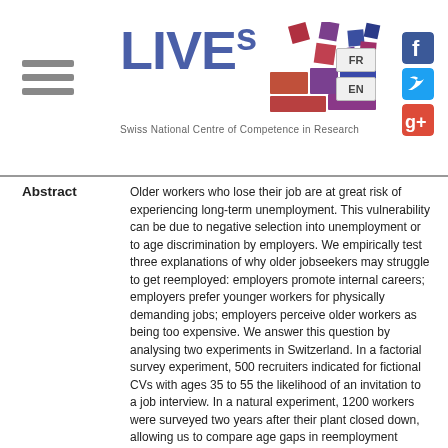[Figure (logo): LIVES Swiss National Centre of Competence in Research logo with colorful square mosaic graphic, hamburger menu icon, language buttons FR and EN, and social media icons for Facebook, Twitter, and Google+]
Abstract
Older workers who lose their job are at great risk of experiencing long-term unemployment. This vulnerability can be due to negative selection into unemployment or to age discrimination by employers. We empirically test three explanations of why older jobseekers may struggle to get reemployed: employers promote internal careers; employers prefer younger workers for physically demanding jobs; employers perceive older workers as being too expensive. We answer this question by analysing two experiments in Switzerland. In a factorial survey experiment, 500 recruiters indicated for fictional CVs with ages 35 to 55 the likelihood of an invitation to a job interview. In a natural experiment, 1200 workers were surveyed two years after their plant closed down, allowing us to compare age gaps in reemployment among workers displaced by the same exogenous event. Combining the two experimental methods allows us to increase internal and external validity. Both the factorial survey among recruiters and the survey among displaced workers show large age barriers in hiring. Unemployed workers aged 55 are much less